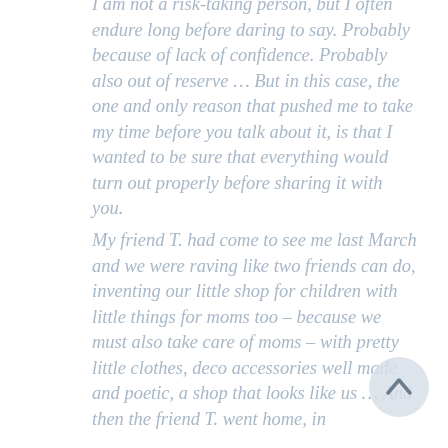I am not a risk-taking person, but I often endure long before daring to say. Probably because of lack of confidence. Probably also out of reserve … But in this case, the one and only reason that pushed me to take my time before you talk about it, is that I wanted to be sure that everything would turn out properly before sharing it with you.
My friend T. had come to see me last March and we were raving like two friends can do, inventing our little shop for children with little things for moms too – because we must also take care of moms – with pretty little clothes, deco accessories well made and poetic, a shop that looks like us … And then the friend T. went home, in
[Figure (illustration): A circular button with an upward-pointing arrow (scroll to top button), light grey with a dark grey arrow icon]